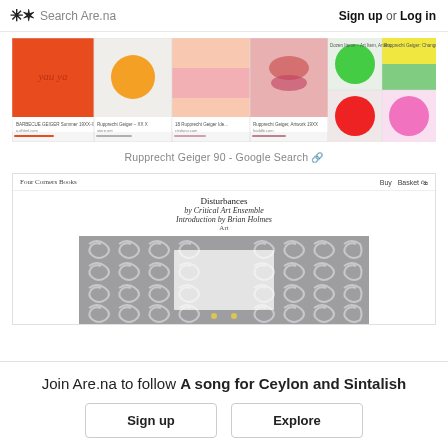✳︎✶ Search Are.na  |  Sign up or Log in
[Figure (screenshot): Screenshot of Google Search results for 'Rupprecht Geiger 90' showing colorful artwork thumbnails including orange, blue circle, gradient pink, lips/pink abstract, and a grid of colorful circular artworks]
Rupprecht Geiger 90 - Google Search 🔗
[Figure (screenshot): Screenshot of Four Corners Books website showing book listing for 'Disturbances by Critical Art Ensemble, Introduction by Brian Holmes' with decorative swirl pattern book cover]
Join Are.na to follow A song for Ceylon and Sintalish
Sign up  Explore